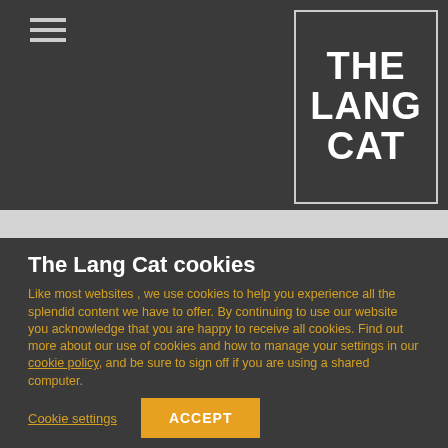THE LANG CAT
The Lang Cat cookies
Like most websites , we use cookies to help you experience all the splendid content we have to offer. By continuing to use our website you acknowledge that you are happy to receive all cookies. Find out more about our use of cookies and how to manage your settings in our cookie policy, and be sure to sign off if you are using a shared computer.
By clicking “Accept”, you consent to the use of ALL the cookies.
Cookie settings
ACCEPT